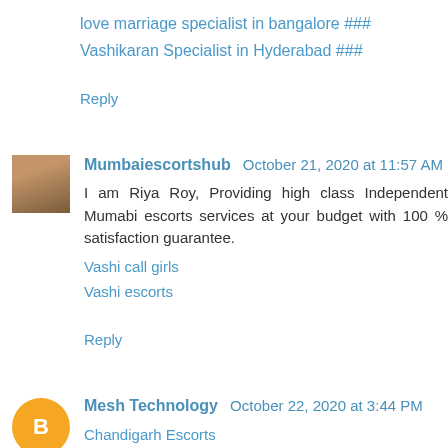love marriage specialist in bangalore ###
Vashikaran Specialist in Hyderabad ###
Reply
Mumbaiescortshub  October 21, 2020 at 11:57 AM
I am Riya Roy, Providing high class Independent Mumabi escorts services at your budget with 100 % satisfaction guarantee.
Vashi call girls
Vashi escorts
Reply
Mesh Technology  October 22, 2020 at 3:44 PM
Chandigarh Escorts
Ludhiana Escorts
Jalandhar Escorts
Lucknow Escorts
Surat Escorts